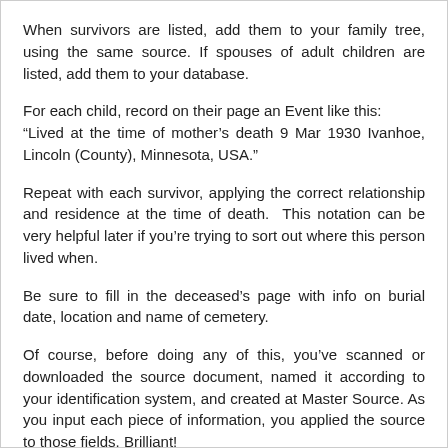When survivors are listed, add them to your family tree, using the same source. If spouses of adult children are listed, add them to your database.
For each child, record on their page an Event like this:
“Lived at the time of mother’s death 9 Mar 1930 Ivanhoe, Lincoln (County), Minnesota, USA.”
Repeat with each survivor, applying the correct relationship and residence at the time of death.  This notation can be very helpful later if you’re trying to sort out where this person lived when.
Be sure to fill in the deceased’s page with info on burial date, location and name of cemetery.
Of course, before doing any of this, you’ve scanned or downloaded the source document, named it according to your identification system, and created at Master Source. As you input each piece of information, you applied the source to those fields. Brilliant!